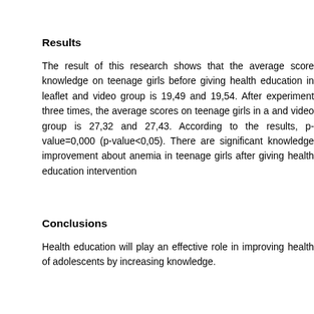Results
The result of this research shows that the average score knowledge on teenage girls before giving health education in leaflet and video group is 19,49 and 19,54. After experiment three times, the average scores on teenage girls in a leaflet and video group is 27,32 and 27,43. According to the results, p-value=0,000 (p-value<0,05). There are significant knowledge improvement about anemia in teenage girls after giving health education intervention
Conclusions
Health education will play an effective role in improving health of adolescents by increasing knowledge.